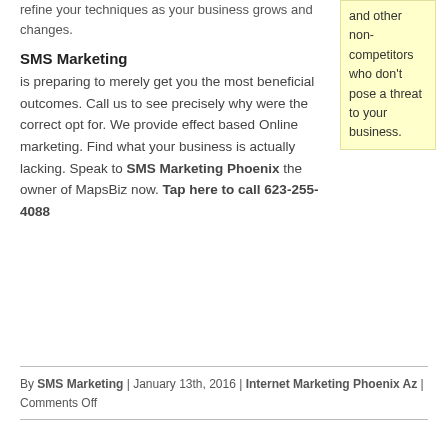refine your techniques as your business grows and changes.
and other non-competitors who don't pose a threat to your business.
SMS Marketing
is preparing to merely get you the most beneficial outcomes. Call us to see precisely why were the correct opt for. We provide effect based Online marketing. Find what your business is actually lacking. Speak to SMS Marketing Phoenix the owner of MapsBiz now. Tap here to call 623-255-4088
By SMS Marketing | January 13th, 2016 | Internet Marketing Phoenix Az | Comments Off